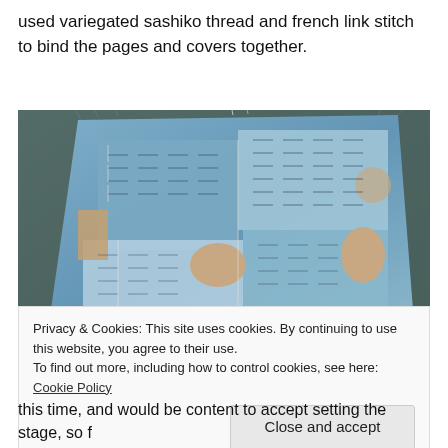used variegated sashiko thread and french link stitch to bind the pages and covers together.
[Figure (photo): Close-up photograph of a hand-stitched fabric book cover or textile piece showing blue denim-like fabric with sashiko embroidery stitches in a grid pattern, with exposed beige/tan fabric patches visible through worn areas, placed on a dark stone or concrete surface.]
Privacy & Cookies: This site uses cookies. By continuing to use this website, you agree to their use.
To find out more, including how to control cookies, see here: Cookie Policy
[Close and accept]
this time, and would be content to accept setting the stage, so f